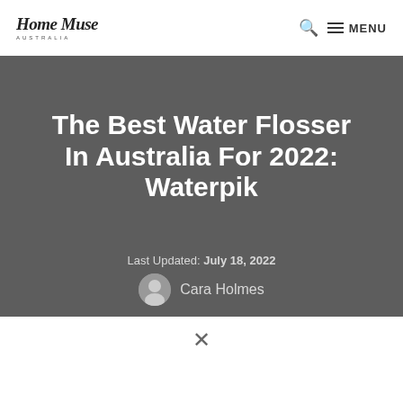Home Muse Australia — MENU
The Best Water Flosser In Australia For 2022: Waterpik
Last Updated: July 18, 2022
Cara Holmes